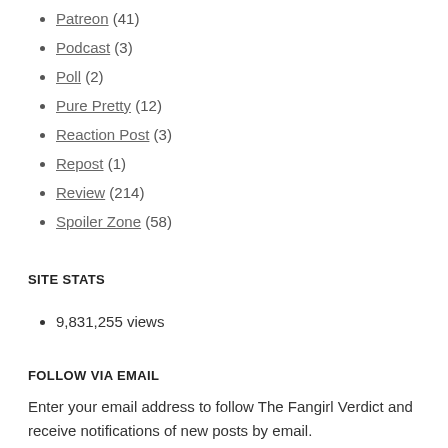Patreon (41)
Podcast (3)
Poll (2)
Pure Pretty (12)
Reaction Post (3)
Repost (1)
Review (214)
Spoiler Zone (58)
SITE STATS
9,831,255 views
FOLLOW VIA EMAIL
Enter your email address to follow The Fangirl Verdict and receive notifications of new posts by email.